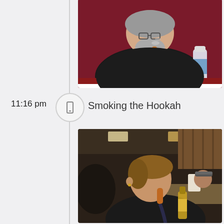[Figure (photo): Man with gray beard and glasses smoking a hookah pipe, wearing black shirt, with a water bottle on a red-trimmed table, against a dark red background.]
11:16 pm
[Figure (other): Phone/mobile icon inside a circular timeline marker]
Smoking the Hookah
[Figure (photo): Young man with brown hair smoking a hookah pipe, wearing black shirt, in a restaurant setting with another person and a beer bottle visible.]